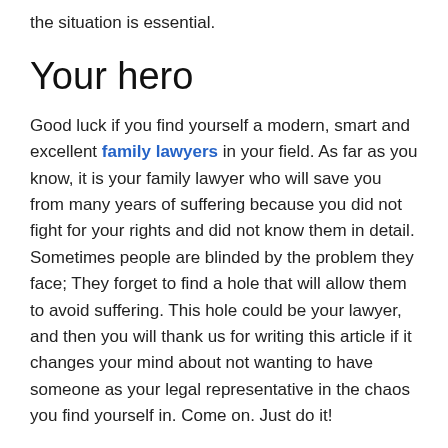the situation is essential.
Your hero
Good luck if you find yourself a modern, smart and excellent family lawyers in your field. As far as you know, it is your family lawyer who will save you from many years of suffering because you did not fight for your rights and did not know them in detail. Sometimes people are blinded by the problem they face; They forget to find a hole that will allow them to avoid suffering. This hole could be your lawyer, and then you will thank us for writing this article if it changes your mind about not wanting to have someone as your legal representative in the chaos you find yourself in. Come on. Just do it!
Your mentor